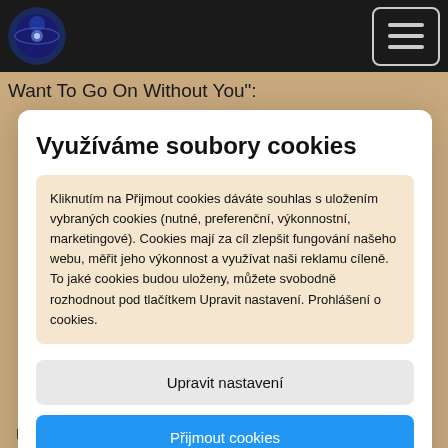Want To Go On Without You":
Využíváme soubory cookies
Kliknutím na Přijmout cookies dáváte souhlas s uložením vybraných cookies (nutné, preferenční, výkonnostní, marketingové). Cookies mají za cíl zlepšit fungování našeho webu, měřit jeho výkonnost a využívat naši reklamu cíleně. To jaké cookies budou uloženy, můžete svobodně rozhodnout pod tlačítkem Upravit nastavení. Prohlášení o cookies.
Upravit nastavení
Přijmout cookies
Fela Ransome, Kuti — organ & vocals